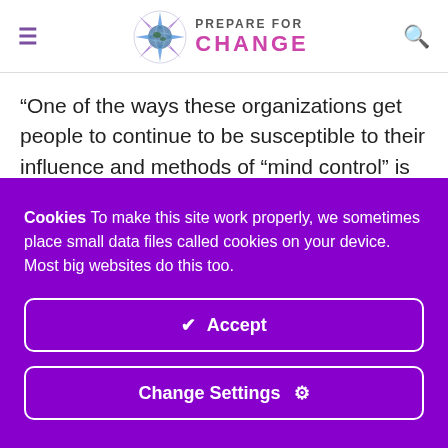PREPARE FOR CHANGE
“One of the ways these organizations get people to continue to be susceptible to their influence and methods of “mind control” is that they get certain people to “buy into” a lower level, less intense variant or “sanitized” version of the Satanic belief system.   The person being manipulated might not think they are personally a god or in control of anything
Cookies To make this site work properly, we sometimes place small data files called cookies on your device. Most big websites do this too.
✔ Accept
Change Settings ⚙